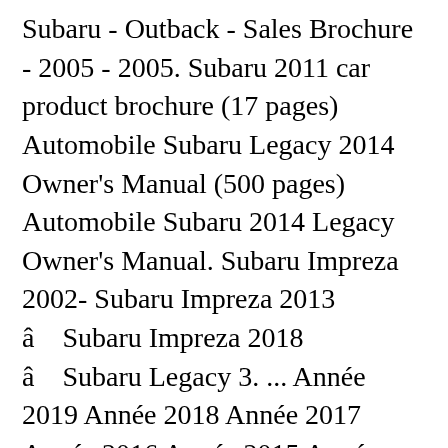Subaru - Outback - Sales Brochure - 2005 - 2005. Subaru 2011 car product brochure (17 pages) Automobile Subaru Legacy 2014 Owner's Manual (500 pages) Automobile Subaru 2014 Legacy Owner's Manual. Subaru Impreza 2002- Subaru Impreza 2013 â    Subaru Impreza 2018 â    Subaru Legacy 3. ... Année 2019 Année 2018 Année 2017 Année 2016 Année 2015 Année 2014 Année 2013 Année 2012 Année 2011 Année 2010 Année 2009 Année 2008 Année 2007. Search. Exterior Color:SILVER Interior Color: Transmission:Automatic. Télécharger une brochure; Votre future Subaru. [citation needed] It was an all-new model, and positioned above the Leone, XT, Justy, and kei cars Rex and Sambar in Subaru's model range at